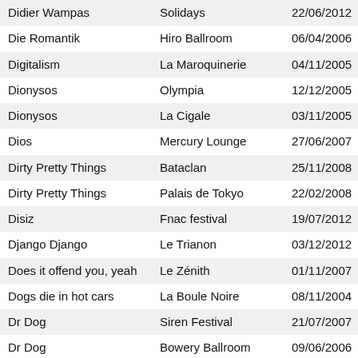| Artist | Venue | Date |
| --- | --- | --- |
| Didier Wampas | Solidays | 22/06/2012 |
| Die Romantik | Hiro Ballroom | 06/04/2006 |
| Digitalism | La Maroquinerie | 04/11/2005 |
| Dionysos | Olympia | 12/12/2005 |
| Dionysos | La Cigale | 03/11/2005 |
| Dios | Mercury Lounge | 27/06/2007 |
| Dirty Pretty Things | Bataclan | 25/11/2008 |
| Dirty Pretty Things | Palais de Tokyo | 22/02/2008 |
| Disiz | Fnac festival | 19/07/2012 |
| Django Django | Le Trianon | 03/12/2012 |
| Does it offend you, yeah | Le Zénith | 01/11/2007 |
| Dogs die in hot cars | La Boule Noire | 08/11/2004 |
| Dr Dog | Siren Festival | 21/07/2007 |
| Dr Dog | Bowery Ballroom | 09/06/2006 |